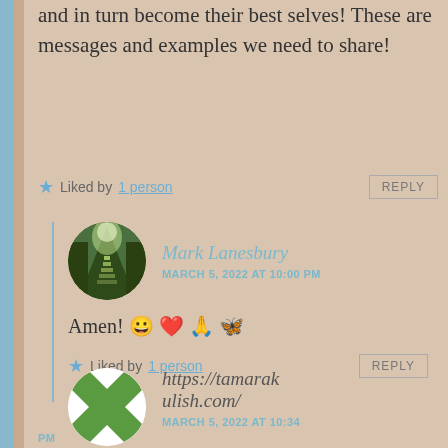and in turn become their best selves! These are messages and examples we need to share!
★ Liked by 1 person
REPLY
Mark Lanesbury
MARCH 5, 2022 AT 10:00 PM
Amen! 😀 ❤️ 🙏 🦋
★ Liked by 1 person
REPLY
https://tamarakulish.com/
MARCH 5, 2022 AT 10:34 PM